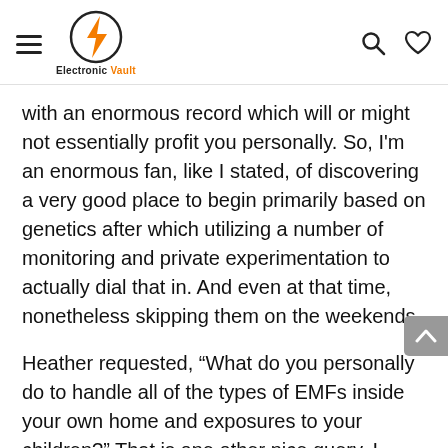Electronic Vault
with an enormous record which will or might not essentially profit you personally. So, I'm an enormous fan, like I stated, of discovering a very good place to begin primarily based on genetics after which utilizing a number of monitoring and private experimentation to actually dial that in. And even at that time, nonetheless skipping them on the weekends.
Heather requested, “What do you personally do to handle all of the types of EMFs inside your own home and exposures to your children?” That is one other nice query, I believe one that may develop into more and more related. Because it seems, I’d suppose that